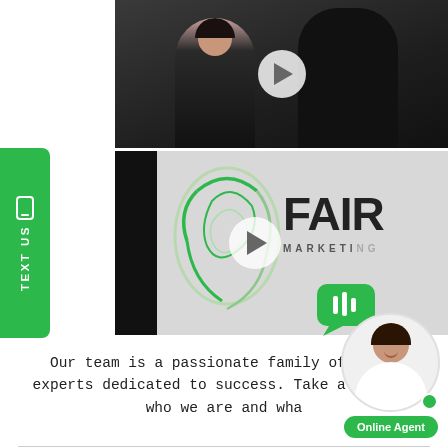[Figure (photo): Screenshot of a website page showing two video thumbnails with play buttons. Top thumbnail shows two people hugging. Bottom thumbnail shows the Fair Marketing company logo sign. A green 'TEXT US' tab appears on the left side.]
Our team is a passionate family of field experts dedicated to success. Take a look at who we are and wha
[Figure (photo): Online chat widget showing a smiling female agent with a green Online Agent badge and a green chat bubble icon.]